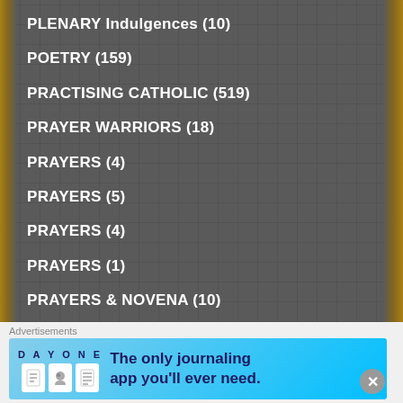PLENARY Indulgences (10)
POETRY (159)
PRACTISING CATHOLIC (519)
PRAYER WARRIORS (18)
PRAYERS (4)
PRAYERS (5)
PRAYERS (4)
PRAYERS (1)
PRAYERS & NOVENA (10)
PRAYERS for CANONISATION (8)
PRAYERS for PRIESTS (30)
Advertisements
[Figure (screenshot): DAY ONE journaling app advertisement banner with icons and text: The only journaling app you'll ever need.]